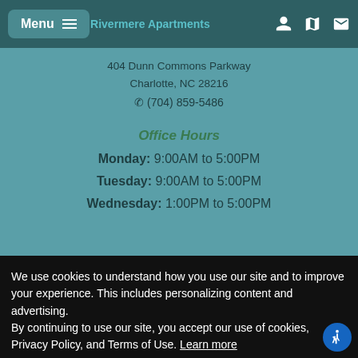Menu | Rivermere Apartments
404 Dunn Commons Parkway
Charlotte, NC 28216
☎ (704) 859-5486
Office Hours
Monday: 9:00AM to 5:00PM
Tuesday: 9:00AM to 5:00PM
Wednesday: 1:00PM to 5:00PM
Thursday: Closed
Saturday Closed
Sunday Closed
We use cookies to understand how you use our site and to improve your experience. This includes personalizing content and advertising.
By continuing to use our site, you accept our use of cookies, Privacy Policy, and Terms of Use. Learn more
I accept
Schedule Appointment